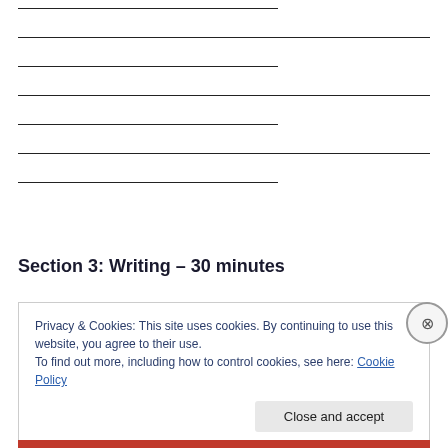[Figure (other): Writing lines — alternating short (partial-width) and full-width horizontal ruled lines for a writing section answer area]
Section 3: Writing – 30 minutes
Privacy & Cookies: This site uses cookies. By continuing to use this website, you agree to their use.
To find out more, including how to control cookies, see here: Cookie Policy
Close and accept